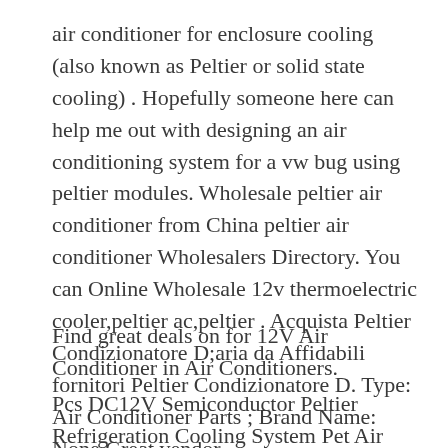air conditioner for enclosure cooling (also known as Peltier or solid state cooling) . Hopefully someone here can help me out with designing an air conditioning system for a vw bug using peltier modules. Wholesale peltier air conditioner from China peltier air conditioner Wholesalers Directory. You can Online Wholesale 12v thermoelectric cooler,peltier ac,peltier . Acquista Peltier Condizionatore D;aria da Affidabili fornitori Peltier Condizionatore D. Type: Air Conditioner Parts ; Brand Name: None Great vendor.
Find great deals on for 12V Air Conditioner in Air Conditioners.
Pcs DC12V Semiconductor Peltier Refrigeration Cooling System Pet Air Conditione. Thermo electrical cooling unit for control cabinets and enclosures Efficient enclosure cooling with Peltier technology Compact Peltier air